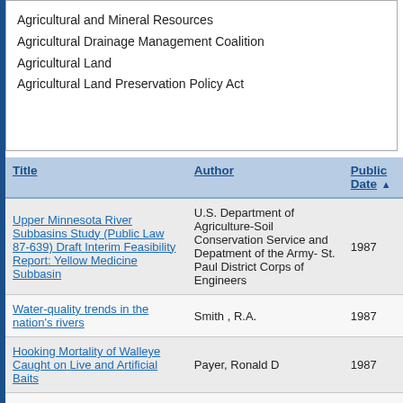Agricultural and Mineral Resources
Agricultural Drainage Management Coalition
Agricultural Land
Agricultural Land Preservation Policy Act
| Title | Author | Public Date |
| --- | --- | --- |
| Upper Minnesota River Subbasins Study (Public Law 87-639) Draft Interim Feasibility Report: Yellow Medicine Subbasin | U.S. Department of Agriculture-Soil Conservation Service and Depatment of the Army- St. Paul District Corps of Engineers | 1987 |
| Water-quality trends in the nation's rivers | Smith , R.A. | 1987 |
| Hooking Mortality of Walleye Caught on Live and Artificial Baits | Payer, Ronald D | 1987 |
| South Central Minnesota County Comprehensive Water Planning Project | LCMR | 1987 |
| Fluorescent Pigment Marking of Seven Minnesota Fish Species | Bandow, Farrell | 1987 |